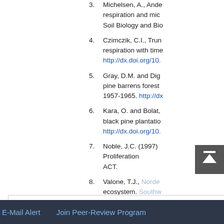3. Michelsen, A., Ande... respiration and mic... Soil Biology and Bio...
4. Czimczik, C.I., Trun... respiration with time... http://dx.doi.org/10....
5. Gray, D.M. and Dig... pine barrens forest... 1957-1965. http://dx...
6. Kara, O. and Bolat,... black pine plantatio... http://dx.doi.org/10....
7. Noble, J.C. (1997)... Proliferation... ACT.
8. Valone, T.J., Norde... ecosystem. Southw...
Top
ABSTRACT
INTRODUCTION
METHODS
RESULTS
DISCUSSION
E-Mail Alert    Join Peer-Review Program